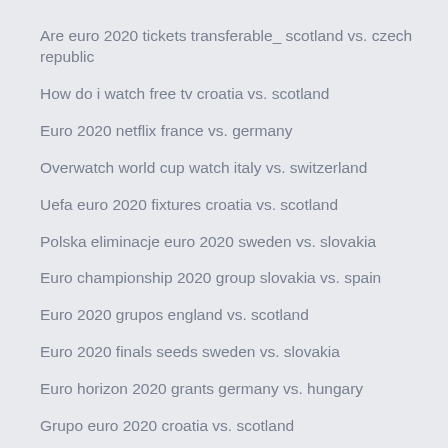Are euro 2020 tickets transferable_ scotland vs. czech republic
How do i watch free tv croatia vs. scotland
Euro 2020 netflix france vs. germany
Overwatch world cup watch italy vs. switzerland
Uefa euro 2020 fixtures croatia vs. scotland
Polska eliminacje euro 2020 sweden vs. slovakia
Euro championship 2020 group slovakia vs. spain
Euro 2020 grupos england vs. scotland
Euro 2020 finals seeds sweden vs. slovakia
Euro horizon 2020 grants germany vs. hungary
Grupo euro 2020 croatia vs. scotland